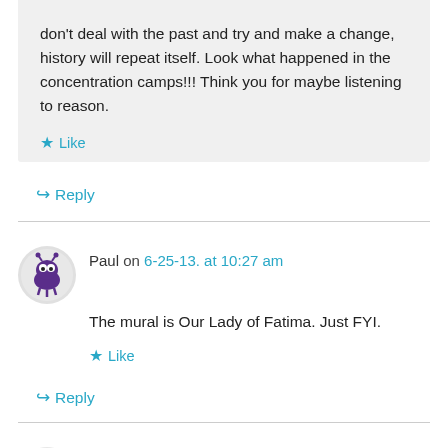don't deal with the past and try and make a change, history will repeat itself. Look what happened in the concentration camps!!! Think you for maybe listening to reason.
Like
Reply
Paul on 6-25-13. at 10:27 am
The mural is Our Lady of Fatima. Just FYI.
Like
Reply
christina on 6-25-13. at 10:51 am